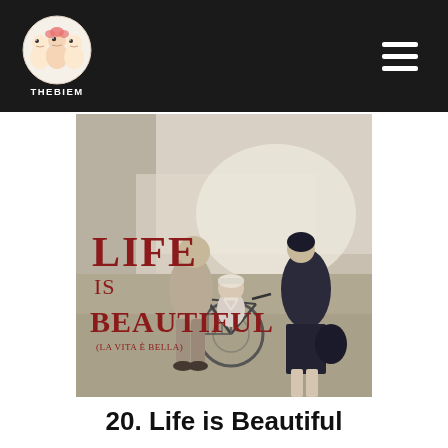THEBIEM
[Figure (photo): Movie poster for 'Life is Beautiful (La Vita è Bella)' showing a family with a child on a bicycle on a street scene, black and white/sepia toned image with dark red title text]
20. Life is Beautiful